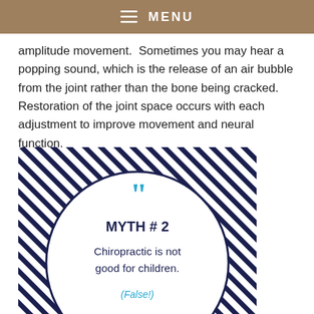MENU
amplitude movement.  Sometimes you may hear a popping sound, which is the release of an air bubble from the joint rather than the bone being cracked.  Restoration of the joint space occurs with each adjustment to improve movement and neural function.
[Figure (infographic): Circular quote card on diagonal navy-and-white striped background. Contains large cyan quotation marks, bold text 'MYTH #2', body text 'Chiropractic is not good for children.', italic cyan text '(False!)', and Somerville Chiropractic Family Wellness Centre logo at bottom.]